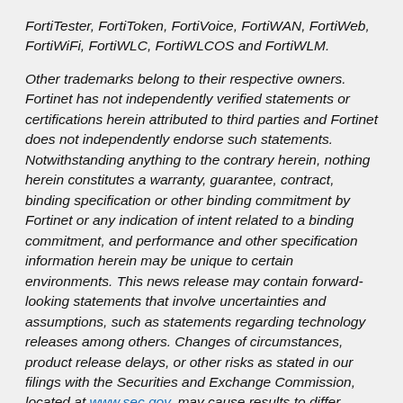FortiTester, FortiToken, FortiVoice, FortiWAN, FortiWeb, FortiWiFi, FortiWLC, FortiWLCOS and FortiWLM.
Other trademarks belong to their respective owners. Fortinet has not independently verified statements or certifications herein attributed to third parties and Fortinet does not independently endorse such statements. Notwithstanding anything to the contrary herein, nothing herein constitutes a warranty, guarantee, contract, binding specification or other binding commitment by Fortinet or any indication of intent related to a binding commitment, and performance and other specification information herein may be unique to certain environments. This news release may contain forward-looking statements that involve uncertainties and assumptions, such as statements regarding technology releases among others. Changes of circumstances, product release delays, or other risks as stated in our filings with the Securities and Exchange Commission, located at www.sec.gov, may cause results to differ